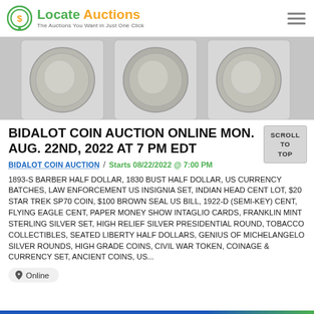Locate Auctions — The Auctions You Want in Just One Click
[Figure (photo): Three silver coins in protective plastic slabs displayed side by side]
BIDALOT COIN AUCTION ONLINE MON. AUG. 22ND, 2022 AT 7 PM EDT
BIDALOT COIN AUCTION  /  Starts 08/22/2022 @ 7:00 PM
1893-S BARBER HALF DOLLAR, 1830 BUST HALF DOLLAR, US CURRENCY BATCHES, LAW ENFORCEMENT US INSIGNIA SET, INDIAN HEAD CENT LOT, $20 STAR TREK SP70 COIN, $100 BROWN SEAL US BILL, 1922-D (SEMI-KEY) CENT, FLYING EAGLE CENT, PAPER MONEY SHOW INTAGLIO CARDS, FRANKLIN MINT STERLING SILVER SET, HIGH RELIEF SILVER PRESIDENTIAL ROUND, TOBACCO COLLECTIBLES, SEATED LIBERTY HALF DOLLARS, GENIUS OF MICHELANGELO SILVER ROUNDS, HIGH GRADE COINS, CIVIL WAR TOKEN, COINAGE & CURRENCY SET, ANCIENT COINS, US...
Online